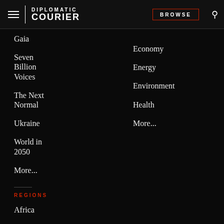DIPLOMATIC COURIER  BROWSE
Gaia
Seven Billion Voices
The Next Normal
Ukraine
World in 2050
More...
REGIONS
Africa
Asia
Economy
Energy
Environment
Health
More...